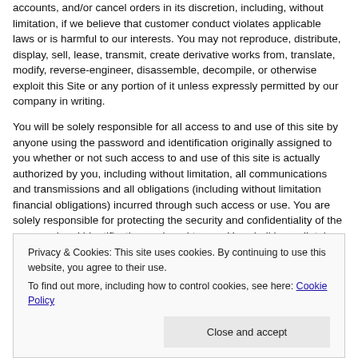accounts, and/or cancel orders in its discretion, including, without limitation, if we believe that customer conduct violates applicable laws or is harmful to our interests. You may not reproduce, distribute, display, sell, lease, transmit, create derivative works from, translate, modify, reverse-engineer, disassemble, decompile, or otherwise exploit this Site or any portion of it unless expressly permitted by our company in writing.
You will be solely responsible for all access to and use of this site by anyone using the password and identification originally assigned to you whether or not such access to and use of this site is actually authorized by you, including without limitation, all communications and transmissions and all obligations (including without limitation financial obligations) incurred through such access or use. You are solely responsible for protecting the security and confidentiality of the password and identification assigned to you. You shall immediately notify JumpingSolutions.com of any unauthorized use
Privacy & Cookies: This site uses cookies. By continuing to use this website, you agree to their use.
To find out more, including how to control cookies, see here: Cookie Policy
Close and accept